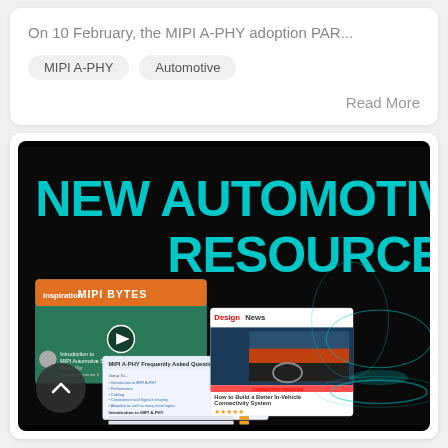On 10 February, the MIPI A-PHY adoption PAR...
MIPI A-PHY
Automotive
Read More
[Figure (screenshot): Promotional banner for 'NEW AUTOMOTIVE RESOURCES' on a black background with teal text, showing screenshots of MIPI Bytes video, MIPI A-PHY FAQ document, Design News article on vehicle connectivity, and a wireframe car illustration]